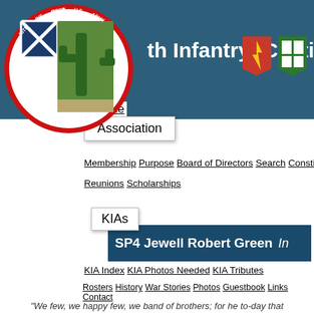th Infantry (Cacti)
[Figure (logo): 35th Infantry Regiment circular patch/logo with cactus design, red and white border with regimental text]
[Figure (logo): Two military unit shields/badges - 25th Infantry Division and 4th Infantry Division]
Home
Association
Membership  Purpose  Board of Directors  Search  Constitution
Reunions  Scholarships
KIAs
SP4 Jewell Robert Green   In
KIA Index  KIA Photos Needed  KIA Tributes
Rosters  History  War Stories  Photos  Guestbook  Links  Contact
"We few, we happy few, we band of brothers; for he to-day that sheds his blood with me shall be my brother"
Delta
Company
1st
Battalion
35th
Infantry
Regiment